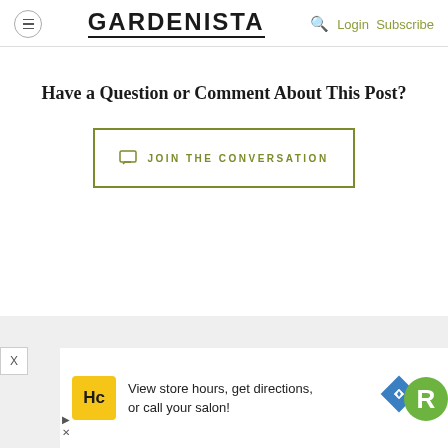GARDENISTA — Login Subscribe
Have a Question or Comment About This Post?
JOIN THE CONVERSATION
[Figure (screenshot): Advertisement: HC salon logo with text 'View store hours, get directions, or call your salon!' with navigation icons and a green R badge]